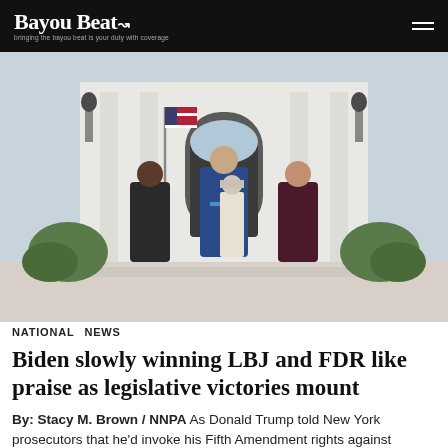Bayou Beat
[Figure (photo): Three people walking outdoors in front of a white columned building, with an American flag. Center person wears a blue suit, left person wears dark attire, right person wears a dark maroon suit.]
NATIONAL   NEWS
Biden slowly winning LBJ and FDR like praise as legislative victories mount
By: Stacy M. Brown / NNPA As Donald Trump told New York prosecutors that he'd invoke his Fifth Amendment rights against self-incrimination, President Joe Biden...